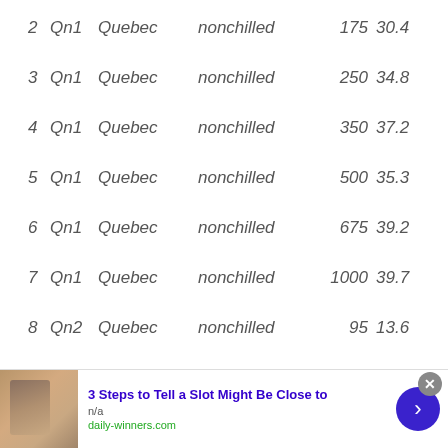| # | ID | Region | Condition | Val1 | Val2 |
| --- | --- | --- | --- | --- | --- |
| 2 | Qn1 | Quebec | nonchilled | 175 | 30.4 |
| 3 | Qn1 | Quebec | nonchilled | 250 | 34.8 |
| 4 | Qn1 | Quebec | nonchilled | 350 | 37.2 |
| 5 | Qn1 | Quebec | nonchilled | 500 | 35.3 |
| 6 | Qn1 | Quebec | nonchilled | 675 | 39.2 |
| 7 | Qn1 | Quebec | nonchilled | 1000 | 39.7 |
| 8 | Qn2 | Quebec | nonchilled | 95 | 13.6 |
| 9 | Qn2 | Quebec | nonchilled | 175 | 27.3 |
[Figure (other): Advertisement banner: '3 Steps to Tell a Slot Might Be Close to' from daily-winners.com]